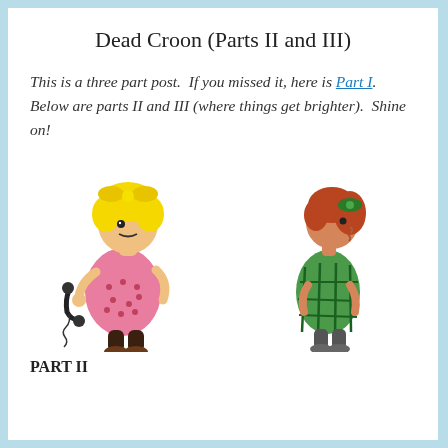Dead Croon (Parts II and III)
This is a three part post.  If you missed it, here is Part I.  Below are parts II and III (where things get brighter).  Shine on!
[Figure (illustration): Two Peanuts cartoon characters side by side: on the left, Sally Brown in a pink dress with yellow hair holding a telephone receiver; on the right, Patty (Peppermint Patty) in a green outfit with red hair, viewed from the side.]
PART II
...